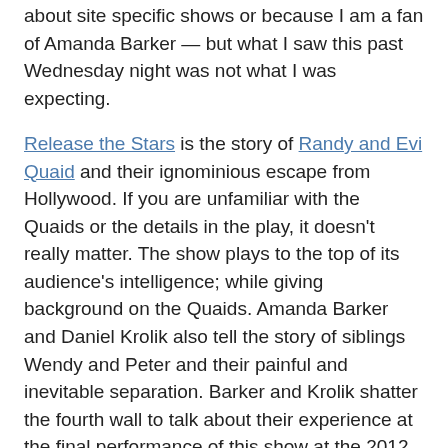about site specific shows or because I am a fan of Amanda Barker — but what I saw this past Wednesday night was not what I was expecting.
Release the Stars is the story of Randy and Evi Quaid and their ignominious escape from Hollywood. If you are unfamiliar with the Quaids or the details in the play, it doesn't really matter. The show plays to the top of its audience's intelligence; while giving background on the Quaids. Amanda Barker and Daniel Krolik also tell the story of siblings Wendy and Peter and their painful and inevitable separation. Barker and Krolik shatter the fourth wall to talk about their experience at the final performance of this show at the 2012 Toronto Fringe Festival when the Quaids were actually in attendance.
Release the Stars is a tightly written show. The performances are solid, funny and heart-wrenching and the actors are connected throughout. The pace is excellent and the direction is seamless. The stories are complex and the character